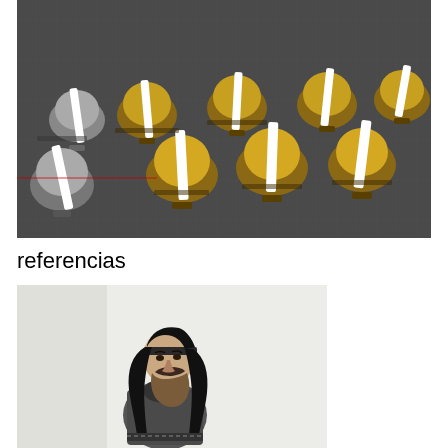[Figure (photo): 3D render of multiple bell-shaped Viking or ancient helmets with white curved spine/plume attachments, arranged in rows on a dark grey grid surface. Helmets appear in gold/brass and silver/grey color variants.]
referencias
[Figure (illustration): Black and white pencil or ink illustration of a bearded man with long dark hair wearing a headband and armored/chainmail clothing, likely a historical or fantasy warrior figure.]